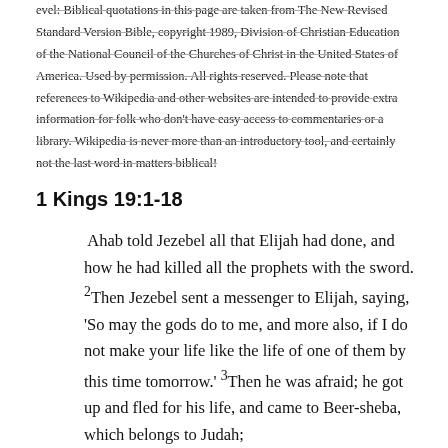evel: Biblical quotations in this page are taken from The New Revised Standard Version Bible, copyright 1989, Division of Christian Education of the National Council of the Churches of Christ in the United States of America. Used by permission. All rights reserved. Please note that references to Wikipedia and other websites are intended to provide extra information for folk who don't have easy access to commentaries or a library. Wikipedia is never more than an introductory tool, and certainly not the last word in matters biblical!
1 Kings 19:1-18
Ahab told Jezebel all that Elijah had done, and how he had killed all the prophets with the sword. 2Then Jezebel sent a messenger to Elijah, saying, 'So may the gods do to me, and more also, if I do not make your life like the life of one of them by this time tomorrow.' 3Then he was afraid; he got up and fled for his life, and came to Beer-sheba, which belongs to Judah;